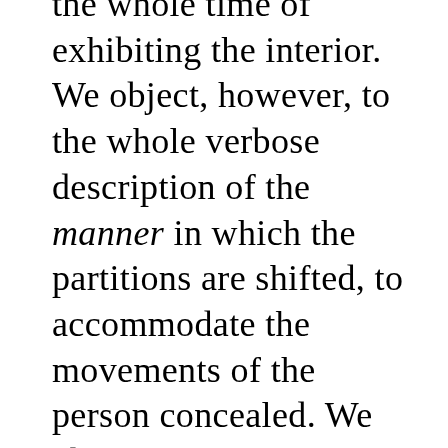the whole time of exhibiting the interior. We object, however, to the whole verbose description of the manner in which the partitions are shifted, to accommodate the movements of the person concealed. We object to it as a mere theory assumed in the first place, and to which circumstances are afterwards made to adapt